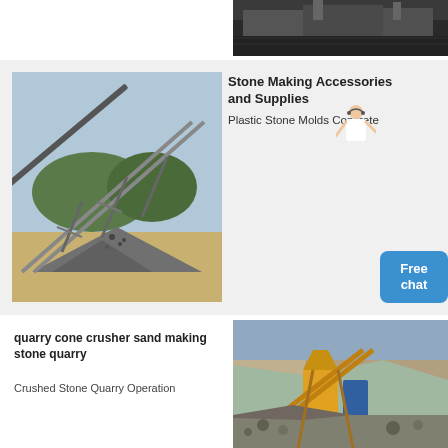[Figure (photo): Mining/quarry machinery equipment photo at top right of page]
[Figure (photo): Conveyor belt system at a stone quarry with large aggregate pile below]
Stone Making Accessories and Supplies
Plastic Stone Molds Concrete
quarry cone crusher sand making stone quarry
Crushed Stone Quarry Operation
[Figure (photo): Cone crusher and conveyor equipment at a stone quarry operation]